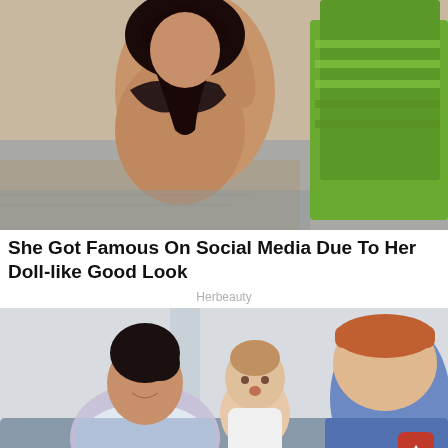[Figure (photo): Woman in dark bikini lounging by a pool with green chair/palm leaves in background]
She Got Famous On Social Media Due To Her Doll-like Good Look
Herbeauty
[Figure (photo): A woman holding a baby with a man leaning in, appearing to be Meghan Markle, baby Archie, and Prince Harry]